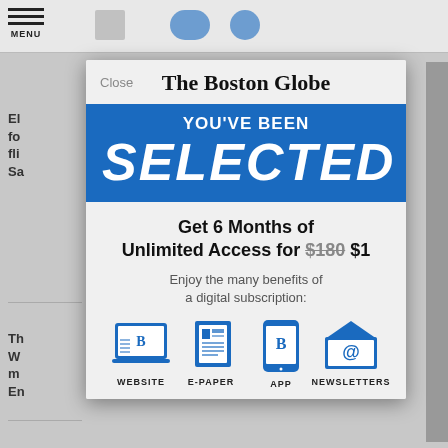[Figure (screenshot): Screenshot of The Boston Globe website with a subscription modal overlay showing 'YOU'VE BEEN SELECTED' promotional offer for 6 months unlimited access for $1, with icons for Website, E-Paper, App, and Newsletters.]